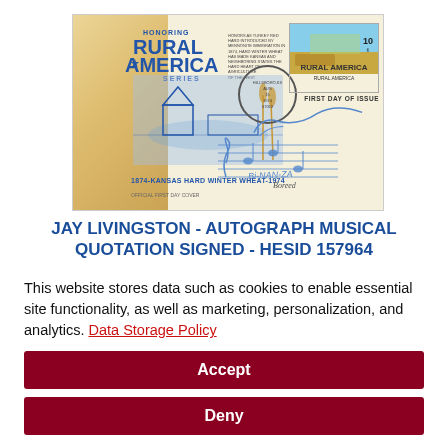[Figure (photo): Scanned first day cover envelope for 'Honoring Rural America Series' featuring wheat stalks illustration, postmark from Hillsboro KS dated AUG 15 1974, a Rural America 10-cent stamp, 'FIRST DAY OF ISSUE' text, blue farm scene illustration, autograph/musical quotation signatures in blue ink, and text '1874 KANSAS HARD WINTER WHEAT 1974']
JAY LIVINGSTON - AUTOGRAPH MUSICAL QUOTATION SIGNED - HESID 157964
This website stores data such as cookies to enable essential site functionality, as well as marketing, personalization, and analytics. Data Storage Policy
Accept
Deny